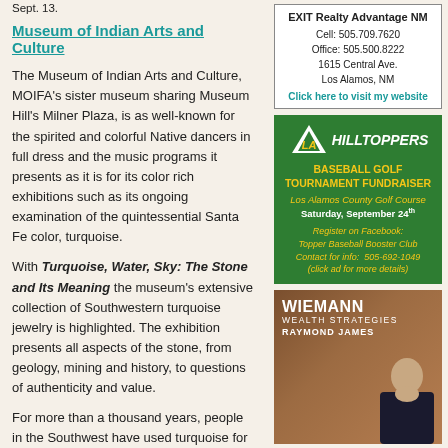Sept. 13.
Museum of Indian Arts and Culture
The Museum of Indian Arts and Culture, MOIFA's sister museum sharing Museum Hill's Milner Plaza, is as well-known for the spirited and colorful Native dancers in full dress and the music programs it presents as it is for its color rich exhibitions such as its ongoing examination of the quintessential Santa Fe color, turquoise.
With Turquoise, Water, Sky: The Stone and Its Meaning the museum's extensive collection of Southwestern turquoise jewelry is highlighted. The exhibition presents all aspects of the stone, from geology, mining and history, to questions of authenticity and value.
For more than a thousand years, people in the Southwest have used turquoise for jewelry and ceremonial purposes and
[Figure (infographic): EXIT Realty Advantage NM advertisement with contact info: Cell 505.709.7620, Office 505.500.8222, 1615 Central Ave, Los Alamos NM. Click here to visit my website.]
[Figure (infographic): LA Hilltoppers Baseball Golf Tournament Fundraiser at Los Alamos County Golf Course, Saturday September 24th. Register on Facebook: Topper Baseball Booster Club. Contact for info: 505-692-1049.]
[Figure (photo): Wiemann Wealth Strategies Raymond James advertisement with photo of smiling woman in dark jacket.]